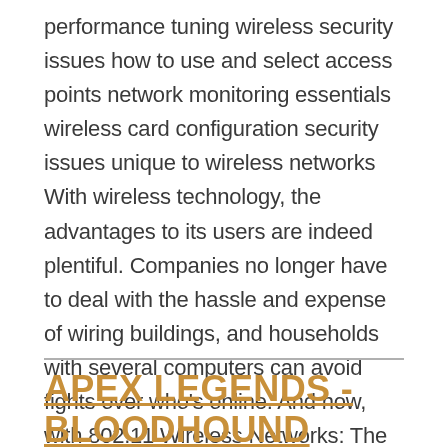performance tuning wireless security issues how to use and select access points network monitoring essentials wireless card configuration security issues unique to wireless networks With wireless technology, the advantages to its users are indeed plentiful. Companies no longer have to deal with the hassle and expense of wiring buildings, and households with several computers can avoid fights over who's online. And now, with 802.11 Wireless Networks: The Definitive Guide, 2nd Edition, you can integrate wireless technology into your current infrastructure with the utmost confidence.
APEX LEGENDS - BLOODHOUND COVER